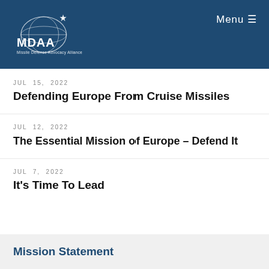MDAA Missile Defense Advocacy Alliance | Menu
JUL 15, 2022
Defending Europe From Cruise Missiles
JUL 12, 2022
The Essential Mission of Europe – Defend It
JUL 7, 2022
It's Time To Lead
Mission Statement